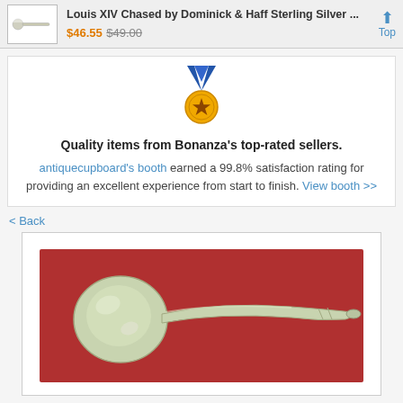Louis XIV Chased by Dominick & Haff Sterling Silver ... $46.55 $49.00 Top
[Figure (illustration): Gold medal with blue ribbon and star, representing top-rated seller badge]
Quality items from Bonanza's top-rated sellers.
antiquecupboard's booth earned a 99.8% satisfaction rating for providing an excellent experience from start to finish. View booth >>
< Back
[Figure (photo): Silver spoon with decorative handle on red background — Louis XIV Chased by Dominick & Haff Sterling Silver]